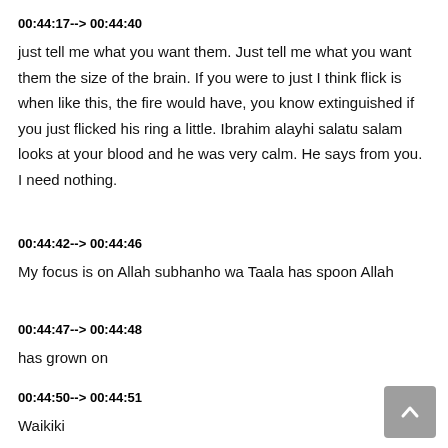00:44:17--> 00:44:40
just tell me what you want them. Just tell me what you want them the size of the brain. If you were to just I think flick is when like this, the fire would have, you know extinguished if you just flicked his ring a little. Ibrahim alayhi salatu salam looks at your blood and he was very calm. He says from you. I need nothing.
00:44:42--> 00:44:46
My focus is on Allah subhanho wa Taala has spoon Allah
00:44:47--> 00:44:48
has grown on
00:44:50--> 00:44:51
Waikiki